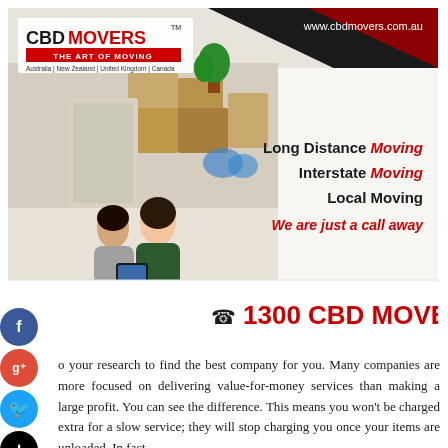[Figure (infographic): CBD Movers advertisement banner. Shows company logo top-left, URL www.cbdmovers.com.au top-right, photo of couple sitting on floor with moving boxes, services listed: Long Distance Moving, Interstate Moving, Local Moving, We are just a call away, and phone number 1300 CBD MOVERS. Dark triangular design elements top-right.]
o your research to find the best company for you. Many companies are more focused on delivering value-for-money services than making a large profit. You can see the difference. This means you won't be charged extra for a slow service; they will stop charging you once your items are unloaded. In fact,